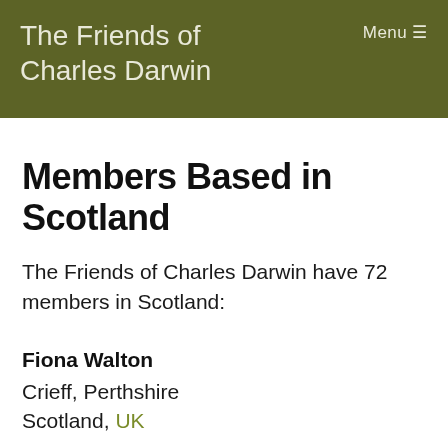The Friends of Charles Darwin
Members Based in Scotland
The Friends of Charles Darwin have 72 members in Scotland:
Fiona Walton
Crieff, Perthshire
Scotland, UK